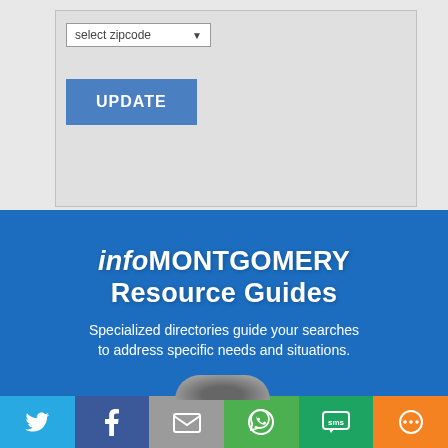[Figure (screenshot): Top grey section with a 'select zipcode' dropdown and a blue UPDATE button]
infoMONTGOMERY Resource Guides
Specialized directories guide your searches to address specific needs and situations.
[Figure (infographic): Bottom social sharing bar with Twitter, Facebook, Email, WhatsApp, SMS, and More buttons]